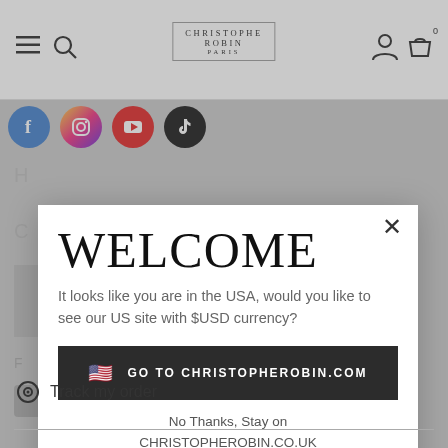[Figure (screenshot): Christophe Robin Paris website navigation bar with hamburger menu, search icon, logo, person icon, cart icon with 0]
[Figure (infographic): Social media icons row: Facebook, Instagram, YouTube, TikTok]
WELCOME
It looks like you are in the USA, would you like to see our US site with $USD currency?
🇺🇸  GO TO CHRISTOPHEROBIN.COM
No Thanks, Stay on CHRISTOPHEROBIN.CO.UK
Track my order